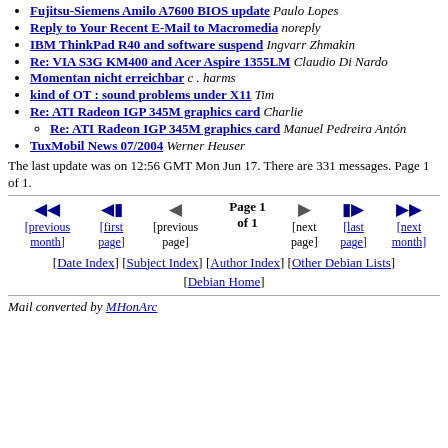Fujitsu-Siemens Amilo A7600 BIOS update Paulo Lopes
Reply to Your Recent E-Mail to Macromedia noreply
IBM ThinkPad R40 and software suspend Ingvarr Zhmakin
Re: VIA S3G KM400 and Acer Aspire 1355LM Claudio Di Nardo
Momentan nicht erreichbar c . harms
kind of OT : sound problems under X11 Tim
Re: ATI Radeon IGP 345M graphics card Charlie
Re: ATI Radeon IGP 345M graphics card Manuel Pedreira Antón
TuxMobil News 07/2004 Werner Heuser
The last update was on 12:56 GMT Mon Jun 17. There are 331 messages. Page 1 of 1.
Page 1 of 1 navigation: [previous month] [first page] [previous page] [next page] [last page] [next month]
[Date Index] [Subject Index] [Author Index] [Other Debian Lists] [Debian Home]
Mail converted by MHonArc